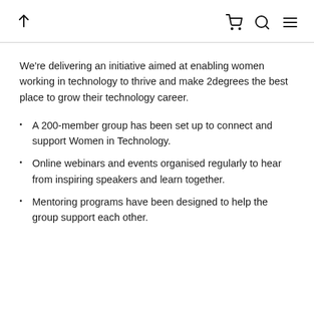↑  🛒  🔍  ≡
We're delivering an initiative aimed at enabling women working in technology to thrive and make 2degrees the best place to grow their technology career.
A 200-member group has been set up to connect and support Women in Technology.
Online webinars and events organised regularly to hear from inspiring speakers and learn together.
Mentoring programs have been designed to help the group support each other.